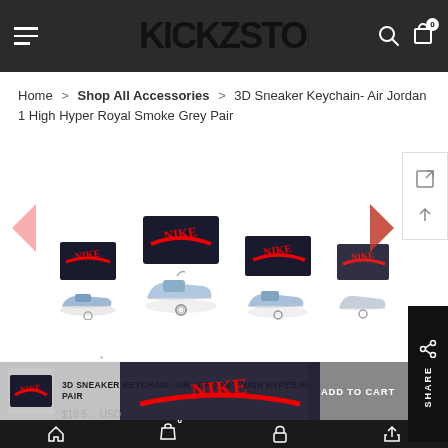KICKZSTORE — navigation header with hamburger menu, logo, search and cart icons
Home > Shop All Accessories > 3D Sneaker Keychain- Air Jordan 1 High Hyper Royal Smoke Grey Pair
[Figure (photo): Product image carousel showing 4 sneaker keychain product photos with Nike shoe boxes. Each shows a miniature Air Jordan 1 High Hyper Royal Smoke Grey keychain with a black Nike shoe box. Navigation arrows on left and right, expand/scroll icons on right side panel.]
[Figure (screenshot): Share button vertical panel on right side in black with share icon and SHARE text]
3D SNEAKER KEYCHAIN- AIR JORDAN 1 HIGH HYPER ROYAL SMOKE GREY PAIR
$19.5? USD
[Figure (photo): Overlay image of Nike shoe box in sticky add-to-cart bar at bottom]
ADD TO CART
Bottom navigation bar with home, bag (0), lock, and share icons